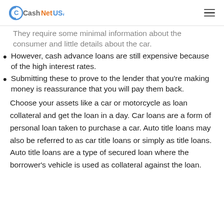CashNetUSA
They require some minimal information about the consumer and little details about the car.
However, cash advance loans are still expensive because of the high interest rates.
Submitting these to prove to the lender that you're making money is reassurance that you will pay them back.
Choose your assets like a car or motorcycle as loan collateral and get the loan in a day. Car loans are a form of personal loan taken to purchase a car. Auto title loans may also be referred to as car title loans or simply as title loans. Auto title loans are a type of secured loan where the borrower's vehicle is used as collateral against the loan.